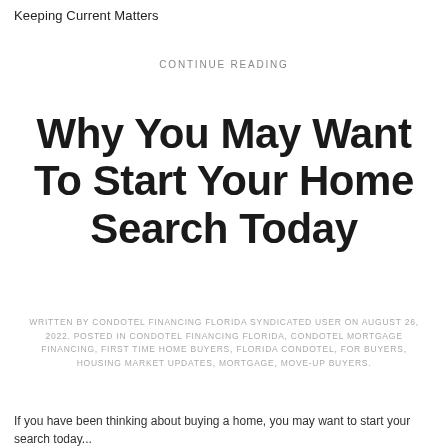Keeping Current Matters
CONTINUE READING
Why You May Want To Start Your Home Search Today
WRITTEN BY CONDOTEL FINANCING FLORIDA SYNDICATED USER ON AUGUST 26, 2022. POSTED IN CONDOTEL FINANCING FLORIDA, CONDOTEL MORTGAGE FINANCING, FIRST TIME HOME BUYERS, FLORIDA CONDOTEL, FOR BUYERS, HOUSING MARKET UPDATES, MORTGAGE, MOVE-UP BUYERS.
If you have been thinking about buying a home, you may want to start your search today...